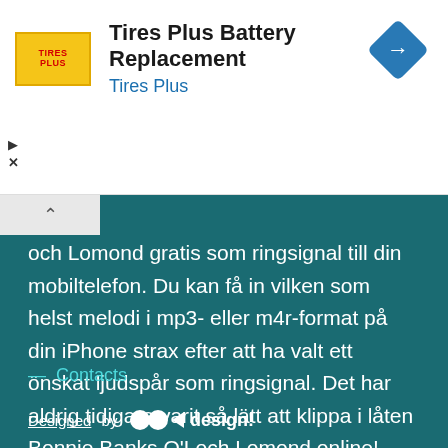[Figure (logo): Tires Plus advertisement banner with yellow logo, title 'Tires Plus Battery Replacement', subtitle 'Tires Plus', and a blue navigation/directions diamond icon on the right]
och Lomond gratis som ringsignal till din mobiltelefon. Du kan få in vilken som helst melodi i mp3- eller m4r-format på din iPhone strax efter att ha valt ett önskat ljudspår som ringsignal. Det har aldrig tidigare varit så lätt att klippa i låten Bonnie Banks O'Loch Lomond online! Musik av Alan Stivell kommer att smycka din mobiltelefon!
— Contacts
Designed by mmc design!